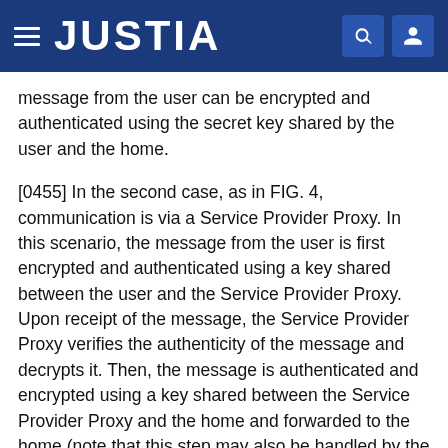JUSTIA
message from the user can be encrypted and authenticated using the secret key shared by the user and the home.
[0455] In the second case, as in FIG. 4, communication is via a Service Provider Proxy. In this scenario, the message from the user is first encrypted and authenticated using a key shared between the user and the Service Provider Proxy. Upon receipt of the message, the Service Provider Proxy verifies the authenticity of the message and decrypts it. Then, the message is authenticated and encrypted using a key shared between the Service Provider Proxy and the home and forwarded to the home (note that this step may also be handled by the establishment of a secure IPSec tunnel between the Service Provider Proxy and the home). The forwarded message is authenticated (as